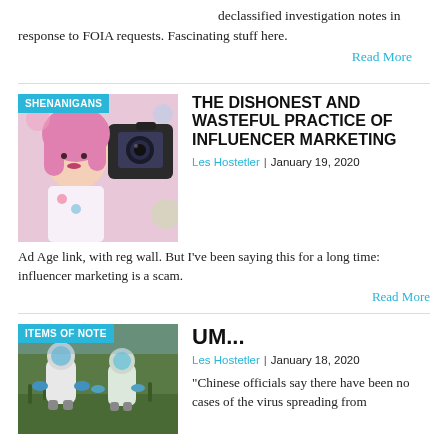declassified investigation notes in response to FOIA requests. Fascinating stuff here.
Read More
[Figure (photo): Photo of a pink-haired woman with a camera, with SHENANIGANS category badge overlay]
THE DISHONEST AND WASTEFUL PRACTICE OF INFLUENCER MARKETING
Les Hostetler | January 19, 2020
Ad Age link, with reg wall. But I've been saying this for a long time: influencer marketing is a scam.
Read More
[Figure (photo): Photo of people in hazmat suits outdoors, with ITEMS OF NOTE category badge overlay]
UM...
Les Hostetler | January 18, 2020
“Chinese officials say there have been no cases of the virus spreading from